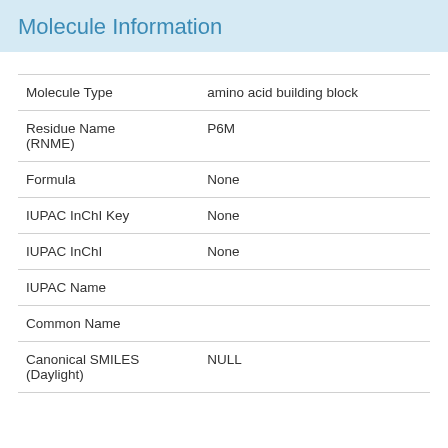Molecule Information
| Molecule Type | amino acid building block |
| Residue Name (RNME) | P6M |
| Formula | None |
| IUPAC InChI Key | None |
| IUPAC InChI | None |
| IUPAC Name |  |
| Common Name |  |
| Canonical SMILES (Daylight) | NULL |